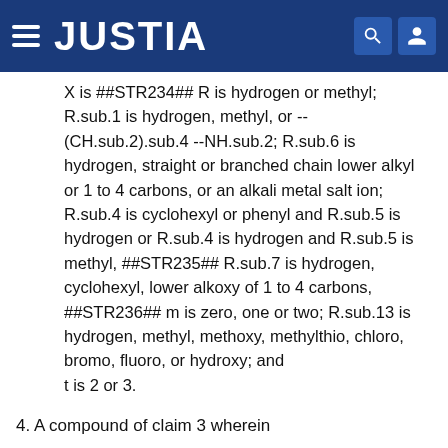JUSTIA
X is ##STR234## R is hydrogen or methyl; R.sub.1 is hydrogen, methyl, or --(CH.sub.2).sub.4 --NH.sub.2; R.sub.6 is hydrogen, straight or branched chain lower alkyl or 1 to 4 carbons, or an alkali metal salt ion;
R.sub.4 is cyclohexyl or phenyl and R.sub.5 is hydrogen or R.sub.4 is hydrogen and R.sub.5 is methyl, ##STR235## R.sub.7 is hydrogen, cyclohexyl, lower alkoxy of 1 to 4 carbons, ##STR236## m is zero, one or two; R.sub.13 is hydrogen, methyl, methoxy, methylthio, chloro, bromo, fluoro, or hydroxy; and
t is 2 or 3.
4. A compound of claim 3 wherein
X is ##STR237## R.sub.2 is phenyl; and R.sub.3 is methyl...